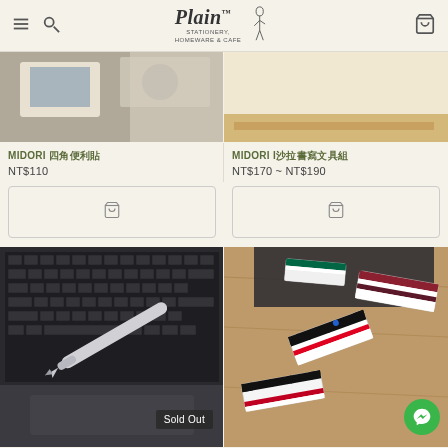Plain Stationery, Homeware & Cafe
[Figure (photo): Partial cropped top image of stationery/lifestyle items on left]
[Figure (photo): Partial cropped top image showing tan/craft paper product on right]
MIDORI 四角便利貼
NT$110
MIDORI I沙拉書寫文具組
NT$170 ~ NT$190
[Figure (photo): Shopping cart placeholder button, left]
[Figure (photo): Shopping cart placeholder button, right]
[Figure (photo): Photo of a silver fountain pen resting on a laptop keyboard, with Sold Out badge]
[Figure (photo): Photo of multiple colorful erasers with geometric patterns on a wooden surface]
LAMY R Collection P...
Pentel...